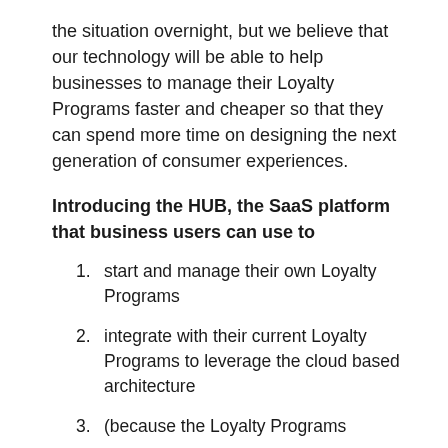the situation overnight, but we believe that our technology will be able to help businesses to manage their Loyalty Programs faster and cheaper so that they can spend more time on designing the next generation of consumer experiences.
Introducing the HUB, the SaaS platform that business users can use to
start and manage their own Loyalty Programs
integrate with their current Loyalty Programs to leverage the cloud based architecture
(because the Loyalty Programs